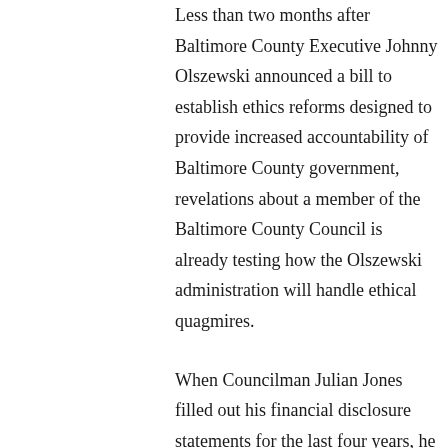Less than two months after Baltimore County Executive Johnny Olszewski announced a bill to establish ethics reforms designed to provide increased accountability of Baltimore County government, revelations about a member of the Baltimore County Council is already testing how the Olszewski administration will handle ethical quagmires.
When Councilman Julian Jones filled out his financial disclosure statements for the last four years, he disclosed a moving company his wife leads as vice president. But where the councilman went awry was when he failed to disclose that the company is one of two on-call moving contractors for Baltimore County government, for which he has served as councilman since 2014.